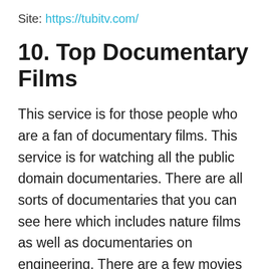Site: https://tubitv.com/
10. Top Documentary Films
This service is for those people who are a fan of documentary films. This service is for watching all the public domain documentaries. There are all sorts of documentaries that you can see here which includes nature films as well as documentaries on engineering. There are a few movies too which a user can watch, but the primary attraction is documentaries.